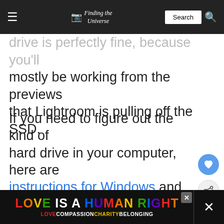Finding the Universe | Search
drive is perfectly fine, because you'll mostly be working from the previews that Lightroom is pulling off the SSD.
If you need to figure out the kind of hard drive in your computer, here are instructions for Windows and Mac. Moving your catalog file is just a question of locating its current location and then moving it in Windows Explorer or Finder. Full instructions on this page
[Figure (infographic): LOVE IS A HUMAN RIGHT rainbow banner ad with LOVECOMPASSIONCHARITYBELONGING below]